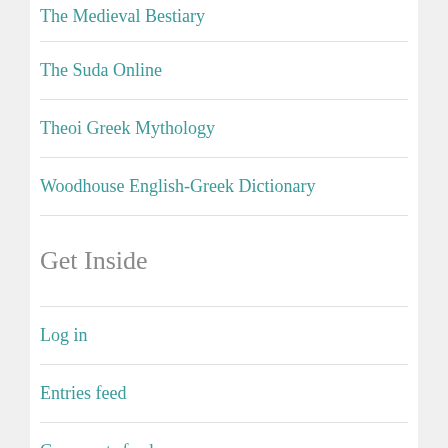The Medieval Bestiary
The Suda Online
Theoi Greek Mythology
Woodhouse English-Greek Dictionary
Get Inside
Log in
Entries feed
Comments feed
WordPress.org